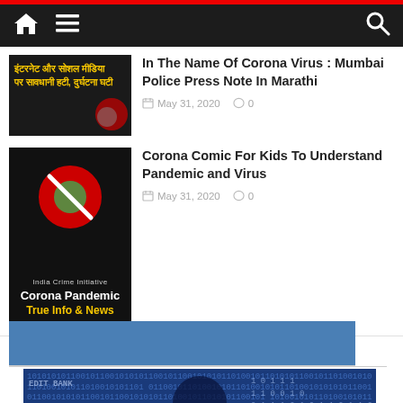Navigation bar with home, menu, and search icons
In The Name Of Corona Virus : Mumbai Police Press Note In Marathi
May 31, 2020  0
Corona Comic For Kids To Understand Pandemic and Virus
May 31, 2020  0
[Figure (screenshot): Blue section header banner]
[Figure (screenshot): Featured article thumbnail with hacker/cybercrime theme in blue with Hindi text and binary numbers]